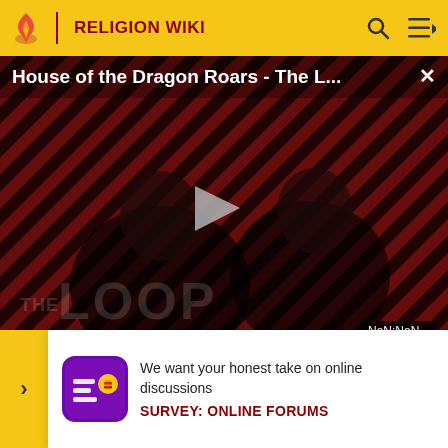RELIGION WIKI
[Figure (screenshot): Video thumbnail for 'House of the Dragon Roars - The L...' showing two dark figures with diagonal stripe pattern background, a play button in the center, 'THE LOOP' text watermark, and NaN:NaN timestamp badge]
deserts, and always barefoot. Jain ascetics do not stay a single place for more than two months to prevent attachment monsoon (ra continue to s
[Figure (infographic): Survey popup banner with purple/yellow icon, text 'We want your honest take on online discussions', and link 'SURVEY: ONLINE FORUMS']